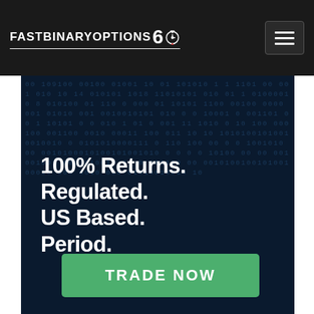FastBinaryOptions60
[Figure (screenshot): Dark banner with binary code background showing the text '100% Returns. Regulated. US Based. Period.' and a green 'TRADE NOW' button]
100% Returns.
Regulated.
US Based.
Period.
TRADE NOW